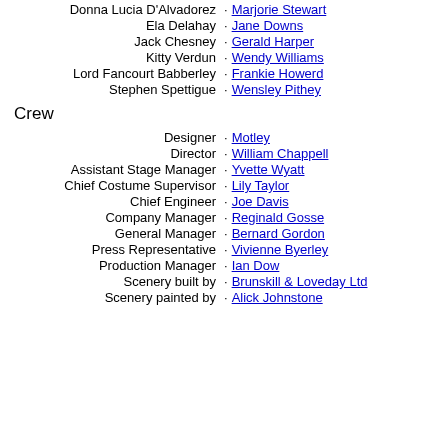Donna Lucia D'Alvadorez · Marjorie Stewart
Ela Delahay · Jane Downs
Jack Chesney · Gerald Harper
Kitty Verdun · Wendy Williams
Lord Fancourt Babberley · Frankie Howerd
Stephen Spettigue · Wensley Pithey
Crew
Designer · Motley
Director · William Chappell
Assistant Stage Manager · Yvette Wyatt
Chief Costume Supervisor · Lily Taylor
Chief Engineer · Joe Davis
Company Manager · Reginald Gosse
General Manager · Bernard Gordon
Press Representative · Vivienne Byerley
Production Manager · Ian Dow
Scenery built by · Brunskill & Loveday Ltd
Scenery painted by · Alick Johnstone